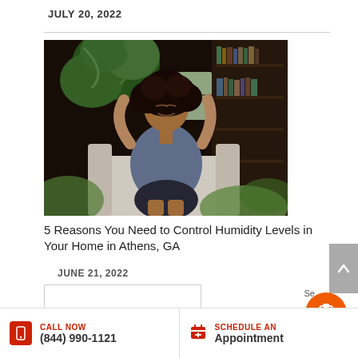JULY 20, 2022
[Figure (photo): Woman with curly hair sitting in a cozy home library, arms raised behind head, eyes closed, looking relaxed. Surrounded by plants and bookshelves.]
5 Reasons You Need to Control Humidity Levels in Your Home in Athens, GA
JUNE 21, 2022
CALL NOW (844) 990-1121 | SCHEDULE AN Appointment